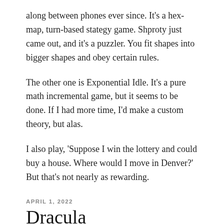along between phones ever since. It's a hex-map, turn-based stategy game. Shproty just came out, and it's a puzzler. You fit shapes into bigger shapes and obey certain rules.
The other one is Exponential Idle. It's a pure math incremental game, but it seems to be done. If I had more time, I'd make a custom theory, but alas.
I also play, 'Suppose I win the lottery and could buy a house. Where would I move in Denver?' But that's not nearly as rewarding.
APRIL 1, 2022
Dracula
Do we all know Dracula is a don't-have-sex book?